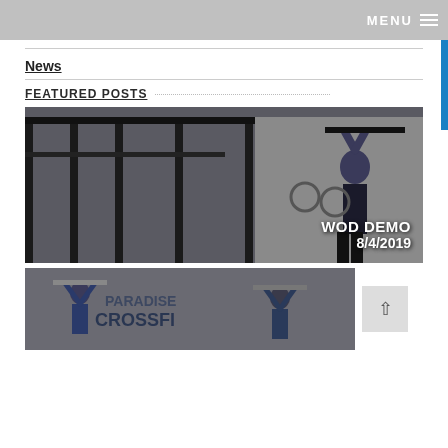MENU
News
FEATURED POSTS
[Figure (photo): Person doing pull-ups in a CrossFit gym with text overlay reading WOD DEMO 8/4/2019]
[Figure (photo): Two athletes lifting barbells overhead in a gym with Paradise CrossFit signage visible]